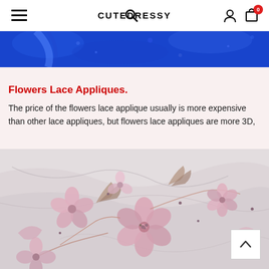CUTEDRESSY
[Figure (photo): Top portion of a blue lace dress product photo, showing vibrant royal blue fabric with embellishments]
Flowers Lace Appliques.
The price of the flowers lace applique usually is more expensive than other lace appliques, but flowers lace appliques are more 3D,
[Figure (photo): Close-up photograph of 3D flower lace appliques in pink and rose gold tones on a marble-like white background, featuring detailed floral embroidery with beads and intricate fabric flowers]